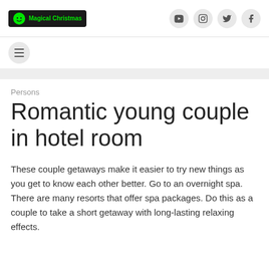Magical Christmas — social icons: YouTube, Instagram, Twitter, Facebook
[Figure (logo): Magical Christmas logo: dark background box with green smiley face icon and green text 'Magical Christmas']
Persons
Romantic young couple in hotel room
These couple getaways make it easier to try new things as you get to know each other better. Go to an overnight spa. There are many resorts that offer spa packages. Do this as a couple to take a short getaway with long-lasting relaxing effects.